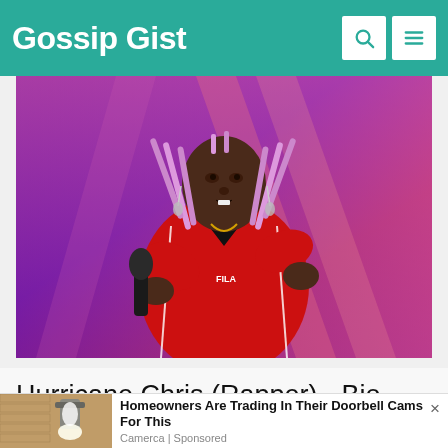Gossip Gist
[Figure (photo): A rapper (Hurricane Chris) on stage holding a microphone, wearing a red jacket over a black turtleneck, with pink braided hair extensions, performing in front of a colorful stage backdrop.]
Hurricane Chris (Rapper) - Bio, Net Worth, Real Name, Dati ...
[Figure (photo): Advertisement image showing an outdoor wall-mounted light fixture area, associated with a doorbell camera advertisement.]
Homeowners Are Trading In Their Doorbell Cams For This
Camerca | Sponsored